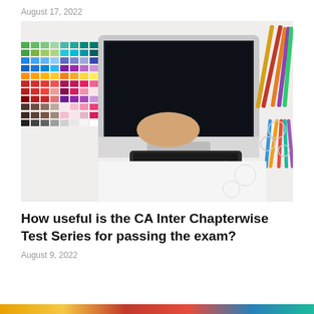August 17, 2022
[Figure (photo): Overhead view of a person's hands using a laptop and a graphics drawing tablet, with colorful Pantone color swatches on the left and art pens/markers on the right, on a white desk.]
How useful is the CA Inter Chapterwise Test Series for passing the exam?
August 9, 2022